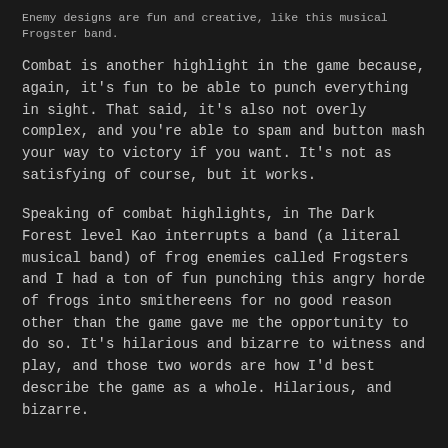Enemy designs are fun and creative, like this musical Frogster band.
Combat is another highlight in the game because, again, it's fun to be able to punch everything in sight. That said, it's also not overly complex, and you're able to spam and button mash your way to victory if you want. It's not as satisfying of course, but it works.
Speaking of combat highlights, in The Dark Forest level Kao interrupts a band (a literal musical band) of frog enemies called Frogsters and I had a ton of fun punching this angry horde of frogs into smithereens for no good reason other than the game gave me the opportunity to do so. It's hilarious and bizarre to witness and play, and those two words are how I'd best describe the game as a whole. Hilarious, and bizarre.